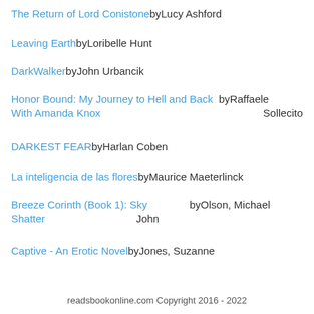The Return of Lord Conistoneby Lucy Ashford
Leaving Earthby Loribelle Hunt
DarkWalkerby John Urbancik
Honor Bound: My Journey to Hell and Back  by Raffaele With Amanda Knox Sollecito
DARKEST FEARby Harlan Coben
La inteligencia de las floresby Maurice Maeterlinck
Breeze Corinth (Book 1): Sky Shatter by Olson, Michael John
Captive - An Erotic Novelby Jones, Suzanne
readsbookonline.com Copyright 2016 - 2022